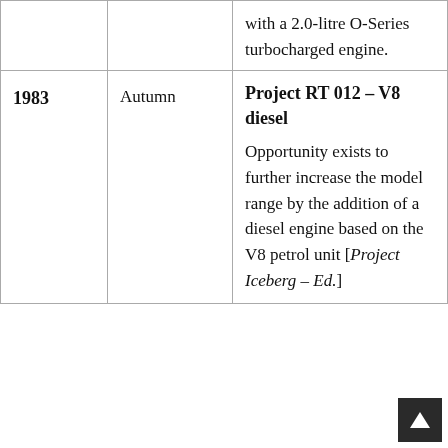| Year | Season | Description |
| --- | --- | --- |
|  |  | with a 2.0-litre O-Series turbocharged engine. |
| 1983 | Autumn | Project RT 012 – V8 diesel
Opportunity exists to further increase the model range by the addition of a diesel engine based on the V8 petrol unit [Project Iceberg – Ed.] |